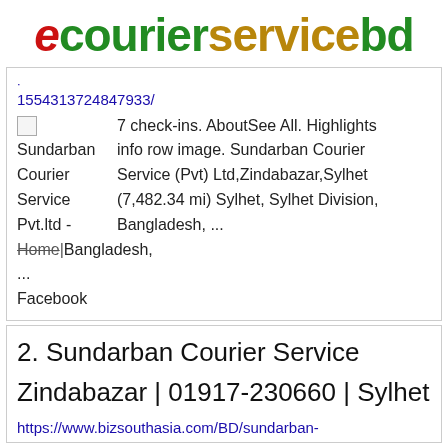[Figure (logo): ecourierservicebd logo with stylized red 'e' and green/gold text]
1554313724847933/
Sundarban Courier Service Pvt.ltd - Home/Bangladesh/...Facebook  7 check-ins. AboutSee All. Highlights info row image. Sundarban Courier Service (Pvt) Ltd,Zindabazar,Sylhet (7,482.34 mi) Sylhet, Sylhet Division, Bangladesh, ...
2. Sundarban Courier Service
Zindabazar | 01917-230660 | Sylhet
https://www.bizsouthasia.com/BD/sundarban-